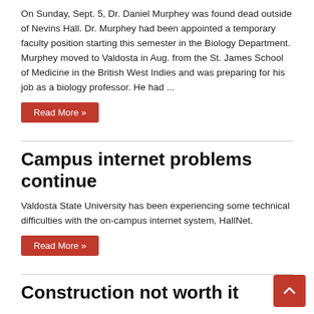On Sunday, Sept. 5, Dr. Daniel Murphey was found dead outside of Nevins Hall. Dr. Murphey had been appointed a temporary faculty position starting this semester in the Biology Department. Murphey moved to Valdosta in Aug. from the St. James School of Medicine in the British West Indies and was preparing for his job as a biology professor. He had ...
Read More »
Campus internet problems continue
Valdosta State University has been experiencing some technical difficulties with the on-campus internet system, HallNet.
Read More »
Construction not worth it
The fresh air of fall is right around the corner. Breathe in real deep and you can smell the fragrance of freshly laid asphalt. Take a stroll through our beautiful main campus and notice the demolished building.